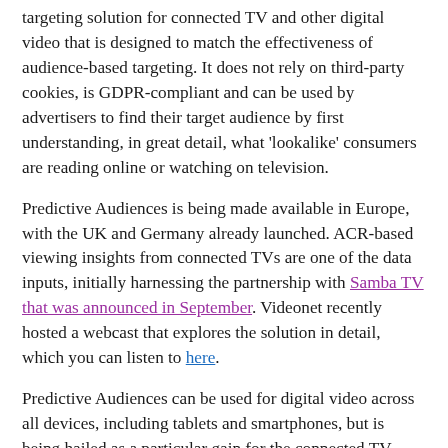targeting solution for connected TV and other digital video that is designed to match the effectiveness of audience-based targeting. It does not rely on third-party cookies, is GDPR-compliant and can be used by advertisers to find their target audience by first understanding, in great detail, what 'lookalike' consumers are reading online or watching on television.
Predictive Audiences is being made available in Europe, with the UK and Germany already launched. ACR-based viewing insights from connected TVs are one of the data inputs, initially harnessing the partnership with Samba TV that was announced in September. Videonet recently hosted a webcast that explores the solution in detail, which you can listen to here.
Predictive Audiences can be used for digital video across all devices, including tablets and smartphones, but is being hailed as a particular gain for the connected TV marketplace. It can be used when buying directly from a television/premium video sales house or programmatically (through private marketplaces that can be set up in DSPs and SSPs, and via an open exchange using pre-bid). The solution can be applied to advertising that will be inserted into live or on-demand content.
This new product draws upon large, opted-in Comscore panels where the desktop and mobile behaviours of consumers can be matched to their choice of broadcast channels and shows.